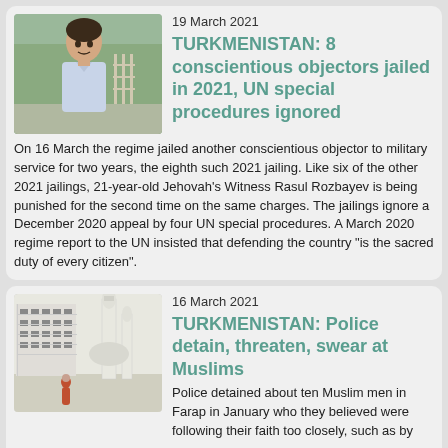[Figure (photo): Portrait photo of a young man outdoors near trees]
19 March 2021
TURKMENISTAN: 8 conscientious objectors jailed in 2021, UN special procedures ignored
On 16 March the regime jailed another conscientious objector to military service for two years, the eighth such 2021 jailing. Like six of the other 2021 jailings, 21-year-old Jehovah's Witness Rasul Rozbayev is being punished for the second time on the same charges. The jailings ignore a December 2020 appeal by four UN special procedures. A March 2020 regime report to the UN insisted that defending the country "is the sacred duty of every citizen".
[Figure (photo): Photo of a building and tall white minaret structure, person walking in foreground]
16 March 2021
TURKMENISTAN: Police detain, threaten, swear at Muslims
Police detained about ten Muslim men in Farap in January who they believed were following their faith too closely, such as by praying every day. Officers "used swear words and behaved crudely towards those they detained." Police forcibly shaved one man, made him drink alcohol, and fined him with no explanation. About ten more were held for praying in a home. Officials warned school children not to take part in (unspecified) "illegal" religious groups and residents received a similar warning.